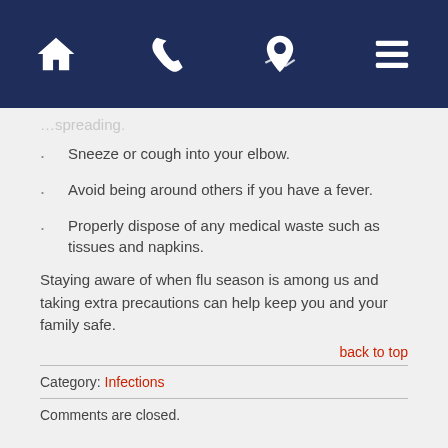Navigation bar with home, phone, map, and menu icons
…spreading.
Sneeze or cough into your elbow.
Avoid being around others if you have a fever.
Properly dispose of any medical waste such as tissues and napkins.
Staying aware of when flu season is among us and taking extra precautions can help keep you and your family safe.
back to top
Category: Infections
Comments are closed.